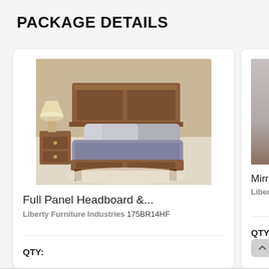PACKAGE DETAILS
[Figure (photo): Photo of a full panel headboard and footboard bed with wooden frame, grey bedding, decorative pillows, and a lamp and nightstand in the background.]
Full Panel Headboard &...
Liberty Furniture Industries 175BR14HF
QTY:
[Figure (photo): Partially visible photo of a mirror product with grey/taupe finish.]
Mirror
Liberty Fu
QTY: